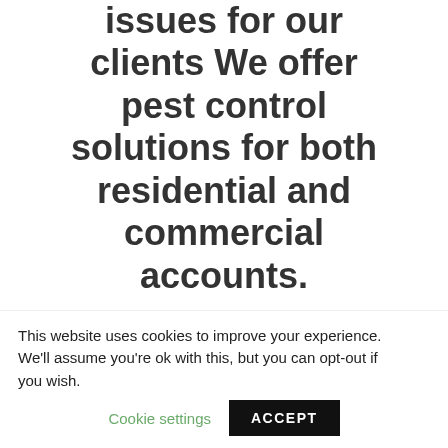issues for our clients We offer pest control solutions for both residential and commercial accounts.
MORE ABOUT US
This website uses cookies to improve your experience. We'll assume you're ok with this, but you can opt-out if you wish. Cookie settings ACCEPT